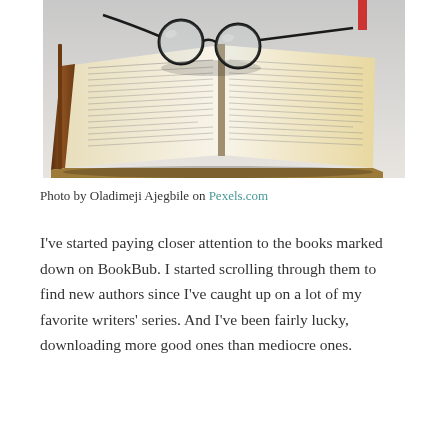[Figure (photo): An open book with yellowed pages lying flat, with black-rimmed round reading glasses resting on top of the pages. The book appears old and well-used. Shot on a light gray surface with soft shadows.]
Photo by Oladimeji Ajegbile on Pexels.com
I've started paying closer attention to the books marked down on BookBub. I started scrolling through them to find new authors since I've caught up on a lot of my favorite writers' series. And I've been fairly lucky, downloading more good ones than mediocre ones.
[What starts here appears to continue on next page]